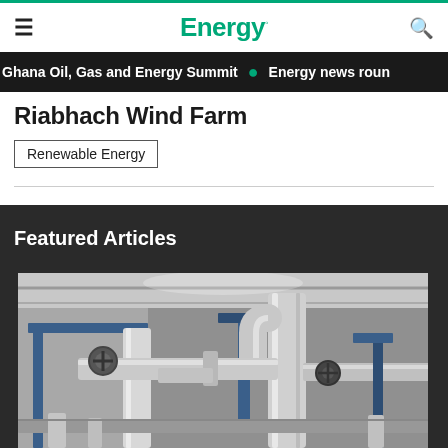Energy.
Ghana Oil, Gas and Energy Summit • Energy news roun
Riabhach Wind Farm
Renewable Energy
Featured Articles
[Figure (photo): Industrial facility interior showing silver insulated pipes, blue structural frames, valves, and metal conduits in a grey-toned photograph]